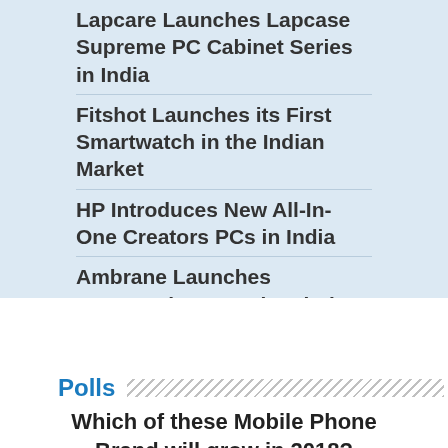Lapcare Launches Lapcase Supreme PC Cabinet Series in India
Fitshot Launches its First Smartwatch in the Indian Market
HP Introduces New All-In-One Creators PCs in India
Ambrane Launches 10000mAh Magnetic Wireless Powerbank
Polls
Which of these Mobile Phone Brand will grow in 2018?